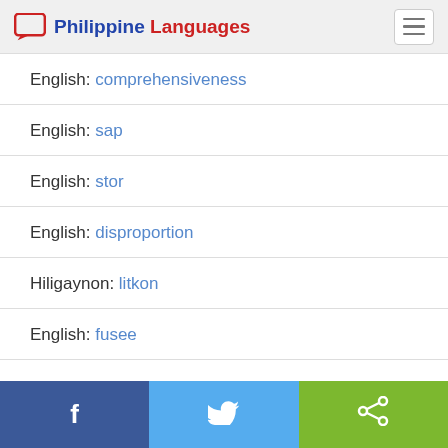Philippine Languages
English: comprehensiveness
English: sap
English: stor
English: disproportion
Hiligaynon: litkon
English: fusee
Facebook | Twitter | Share